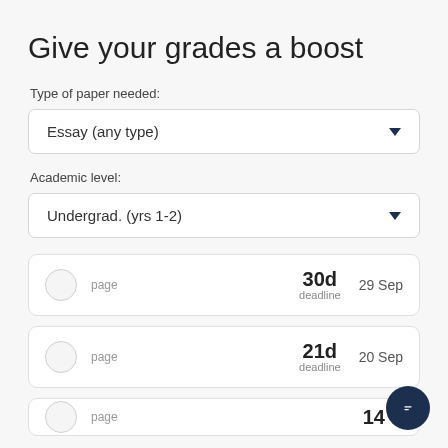Give your grades a boost
Type of paper needed:
Essay (any type)
Academic level:
Undergrad. (yrs 1-2)
30d deadline  29 Sep  page
21d deadline  20 Sep  page
14d (partial)